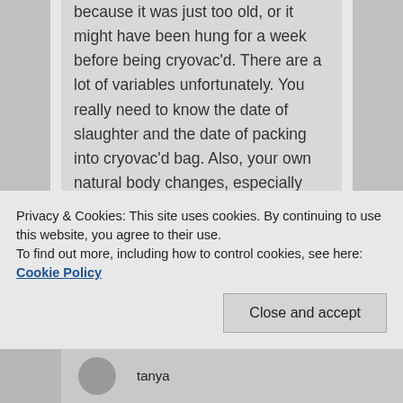because it was just too old, or it might have been hung for a week before being cryovac'd. There are a lot of variables unfortunately. You really need to know the date of slaughter and the date of packing into cryovac'd bag. Also, your own natural body changes, especially hormones in women, can make you more or less tolerant of histamines. You might do fine with a source of meat during one part of the month, but react to it at another part of the month. Or, you may experience a lot of emotional stress on a certain day and this can reduce your tolerance for histamines. I hope this helps.
Privacy & Cookies: This site uses cookies. By continuing to use this website, you agree to their use.
To find out more, including how to control cookies, see here: Cookie Policy
tanya